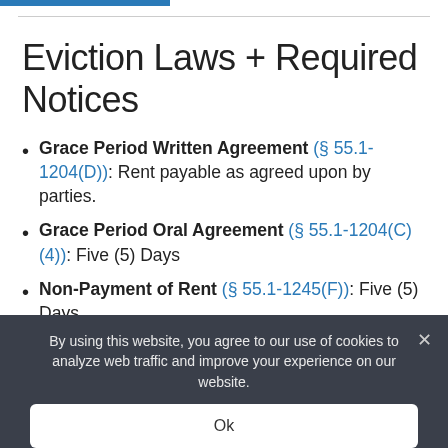Eviction Laws + Required Notices
Grace Period Written Agreement (§ 55.1-1204(D)): Rent payable as agreed upon by parties.
Grace Period Oral Agreement (§ 55.1-1204(C)(4)): Five (5) Days
Non-Payment of Rent (§ 55.1-1245(F)): Five (5) Days
By using this website, you agree to our use of cookies to analyze web traffic and improve your experience on our website.